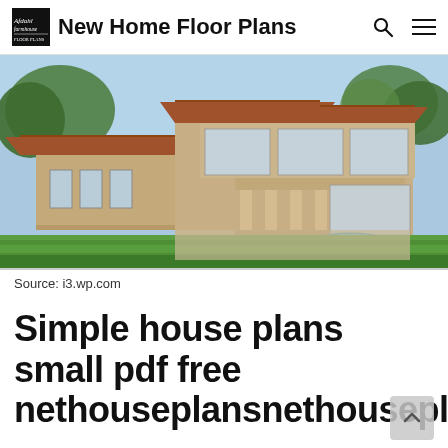New Home Floor Plans
[Figure (photo): 3D rendering of a large luxury house with terracotta roof tiles, beige stucco walls, multiple wings, large glass windows, covered patio with columns, and a swimming pool on a green lawn. Trees visible in background.]
Source: i3.wp.com
Simple house plans small pdf free nethouseplansnethouseplans.